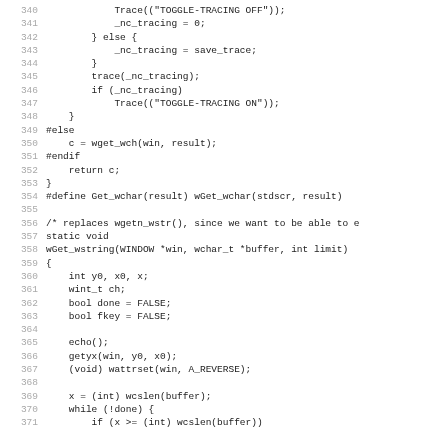Code listing lines 340-371, C source code for wGet_wstring function